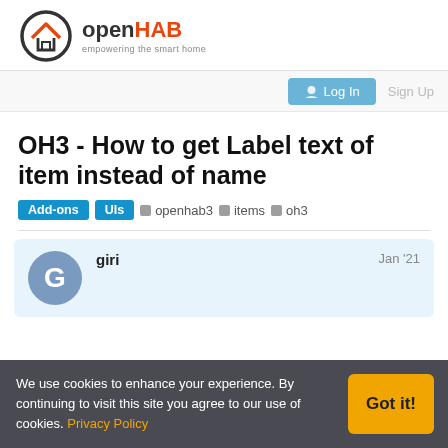[Figure (logo): openHAB logo with house icon and tagline 'empowering the smart home']
[Figure (screenshot): Log In button and Sign Up button in navigation bar]
OH3 - How to get Label text of item instead of name
Add-ons  UIs  openhab3  items  oh3
giri  Jan '21
We use cookies to enhance your experience. By continuing to visit this site you agree to our use of cookies. Privacy Policy